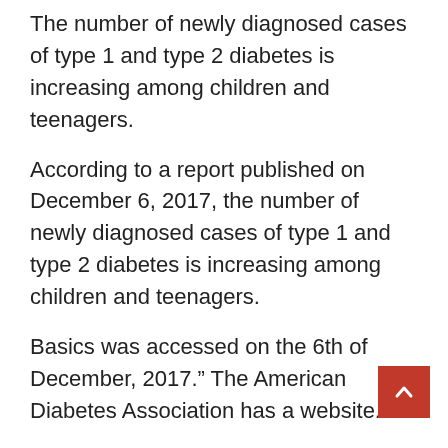The number of newly diagnosed cases of type 1 and type 2 diabetes is increasing among children and teenagers.
According to a report published on December 6, 2017, the number of newly diagnosed cases of type 1 and type 2 diabetes is increasing among children and teenagers.
Basics was accessed on the 6th of December, 2017.” The American Diabetes Association has a website.
“Bringing Healthy Fare to Big-City ‘Food Deserts.’ Diabetes Predictions for December 2009.
and Mortality.” Centers for Disease Control